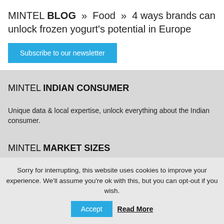MINTEL BLOG » Food » 4 ways brands can unlock frozen yogurt's potential in Europe
Subscribe to our newsletter
MINTEL INDIAN CONSUMER
Unique data & local expertise, unlock everything about the Indian consumer.
MINTEL MARKET SIZES
Market sizes, market shares and forecasts for 34 of the world's most dynamic markets.
MINTEL MENU INSIGHTS
Sorry for interrupting, this website uses cookies to improve your experience. We'll assume you're ok with this, but you can opt-out if you wish. Accept Read More